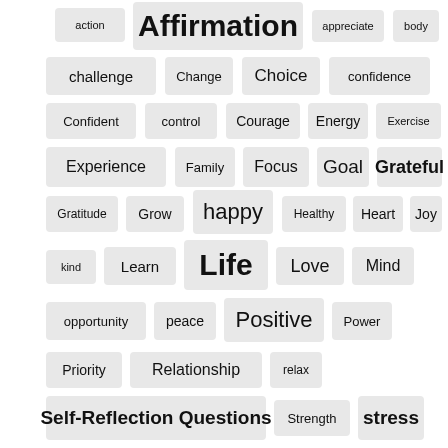[Figure (infographic): Tag cloud / word cloud showing various wellness and self-improvement related words in different font sizes on gray rounded-rectangle tag chips. Words include: action, Affirmation, appreciate, body, challenge, Change, Choice, confidence, Confident, control, Courage, Energy, Exercise, Experience, Family, Focus, Goal, Grateful, Gratitude, Grow, happy, Healthy, Heart, Joy, kind, Learn, Life, Love, Mind, opportunity, peace, Positive, Power, Priority, Relationship, relax, Self-Reflection Questions, Strength, stress, Strong, success, Support, thoughts, Time]